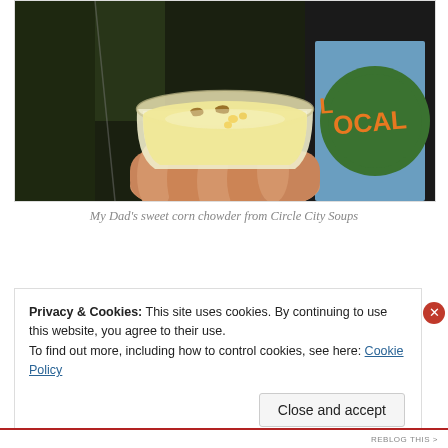[Figure (photo): A hand holding a small clear plastic cup containing pale yellow sweet corn chowder soup with visible corn kernels and small pieces of garnish on top. In the background, partially visible text reading 'LOCAL' in orange on a green background.]
My Dad’s sweet corn chowder from Circle City Soups
Privacy & Cookies: This site uses cookies. By continuing to use this website, you agree to their use.
To find out more, including how to control cookies, see here: Cookie Policy